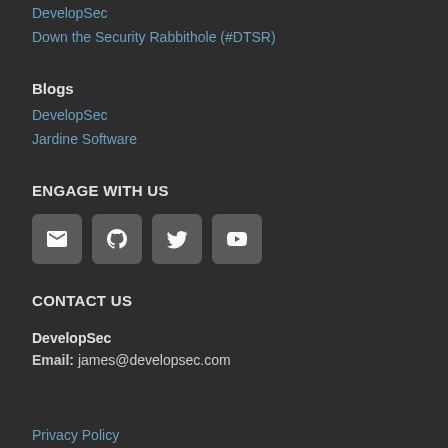DevelopSec
Down the Security Rabbithole (#DTSR)
Blogs
DevelopSec
Jardine Software
ENGAGE WITH US
[Figure (infographic): Four social media icon buttons: email, GitHub, Twitter, YouTube]
CONTACT US
DevelopSec
Email: james@developsec.com
Privacy Policy